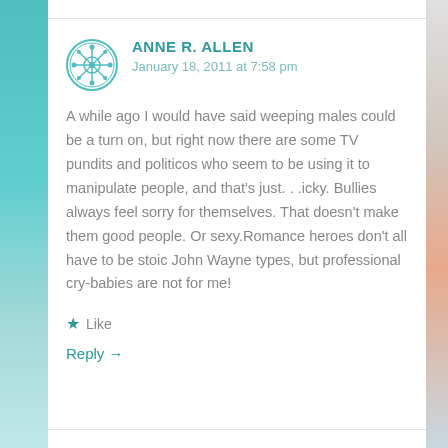ANNE R. ALLEN
January 18, 2011 at 7:58 pm
A while ago I would have said weeping males could be a turn on, but right now there are some TV pundits and politicos who seem to be using it to manipulate people, and that's just. . .icky. Bullies always feel sorry for themselves. That doesn't make them good people. Or sexy.Romance heroes don't all have to be stoic John Wayne types, but professional cry-babies are not for me!
Like
Reply →